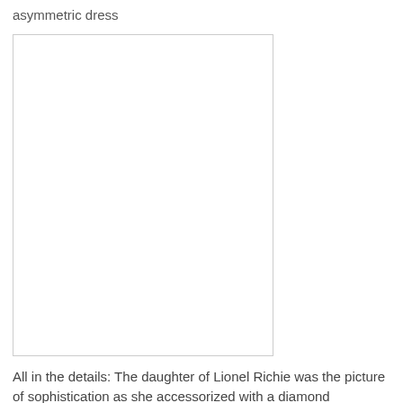asymmetric dress
[Figure (photo): Placeholder/blank white image box with light gray border, representing a photo of a person in an asymmetric dress]
All in the details: The daughter of Lionel Richie was the picture of sophistication as she accessorized with a diamond